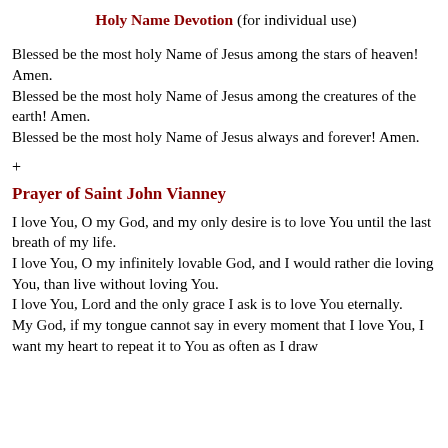Holy Name Devotion (for individual use)
Blessed be the most holy Name of Jesus among the stars of heaven! Amen.
Blessed be the most holy Name of Jesus among the creatures of the earth! Amen.
Blessed be the most holy Name of Jesus always and forever! Amen.
+
Prayer of Saint John Vianney
I love You, O my God, and my only desire is to love You until the last breath of my life.
I love You, O my infinitely lovable God, and I would rather die loving You, than live without loving You.
I love You, Lord and the only grace I ask is to love You eternally.
My God, if my tongue cannot say in every moment that I love You, I want my heart to repeat it to You as often as I draw